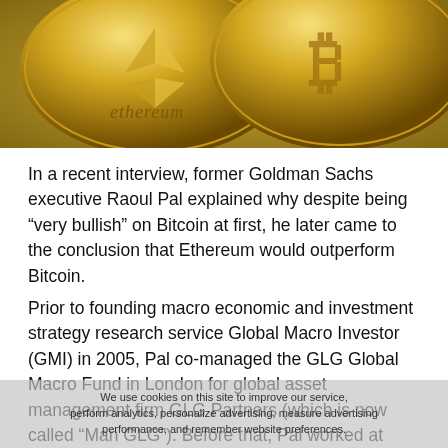[Figure (photo): Close-up photo of two gold cryptocurrency coins — an Ethereum coin on the left and a Bitcoin coin on the right, against a blurred background.]
In a recent interview, former Goldman Sachs executive Raoul Pal explained why despite being “very bullish” on Bitcoin at first, he later came to the conclusion that Ethereum would outperform Bitcoin.
Prior to founding macro economic and investment strategy research service Global Macro Investor (GMI) in 2005, Pal co-managed the GLG Global Macro Fund in London for global asset management firm GLG Partners (which is now called “Man GLG”). Before that, Pal worked at Goldman Sachs, where he co-managed the European hedge fund sales business in Equities and Equity Derivatives. Currently, he is the CEO of finance and business video channel Real Vision, which he co-
We use cookies on this site to improve our service, perform analytics, personalize advertising, measure advertising performance, and remember website preferences.